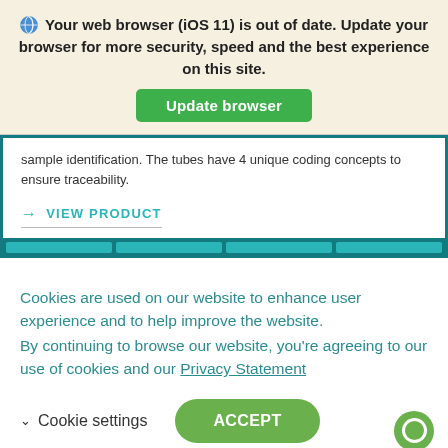Your web browser (iOS 11) is out of date. Update your browser for more security, speed and the best experience on this site.
Update browser
sample identification. The tubes have 4 unique coding concepts to ensure traceability.
→ VIEW PRODUCT
Cookies are used on our website to enhance user experience and to help improve the website.
By continuing to browse our website, you're agreeing to our use of cookies and our Privacy Statement
Cookie settings
ACCEPT